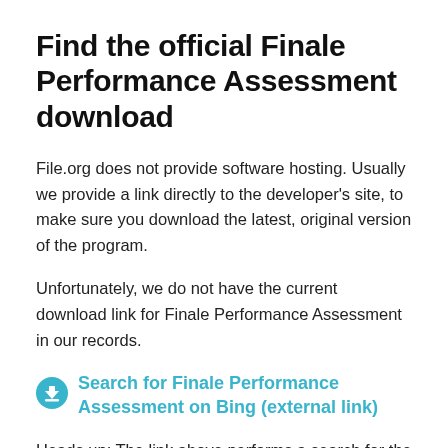Find the official Finale Performance Assessment download
File.org does not provide software hosting. Usually we provide a link directly to the developer's site, to make sure you download the latest, original version of the program.
Unfortunately, we do not have the current download link for Finale Performance Assessment in our records.
Search for Finale Performance Assessment on Bing (external link)
Heads up: The link above performs a search for the product installer on the Bing search engine.